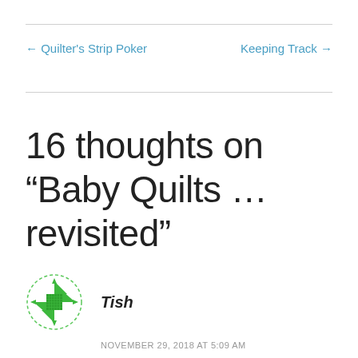← Quilter's Strip Poker
Keeping Track →
16 thoughts on “Baby Quilts … revisited”
[Figure (logo): Green quilt block / pinwheel logo icon with dashed border circle]
Tish
NOVEMBER 29, 2018 AT 5:09 AM